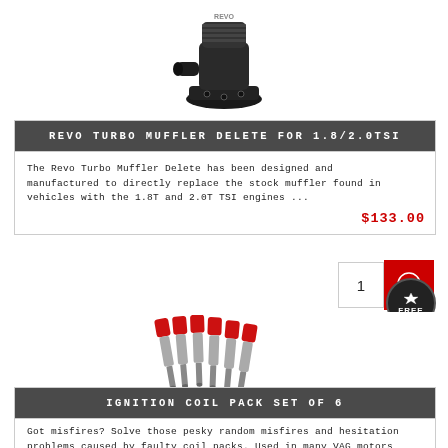[Figure (photo): Black metal turbo blow-off valve / turbo inlet part, photographed on white background]
REVO TURBO MUFFLER DELETE FOR 1.8/2.0TSI
The Revo Turbo Muffler Delete has been designed and manufactured to directly replace the stock muffler found in vehicles with the 1.8T and 2.0T TSI engines ...
$133.00
[Figure (photo): Set of 6 red-topped ignition coil packs photographed on white background]
IGNITION COIL PACK SET OF 6
Got misfires? Solve those pesky random misfires and hesitation problems caused by faulty coil packs. Used in many VAG motors,